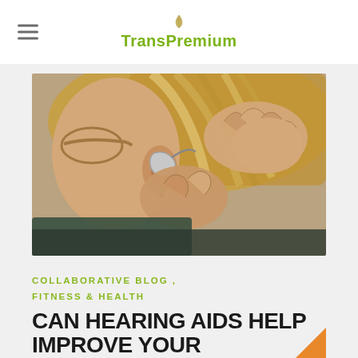TransPremium
[Figure (photo): Close-up photo of a person inserting a hearing aid into their ear, with hands visible placing the device]
COLLABORATIVE BLOG , FITNESS & HEALTH
CAN HEARING AIDS HELP IMPROVE YOUR